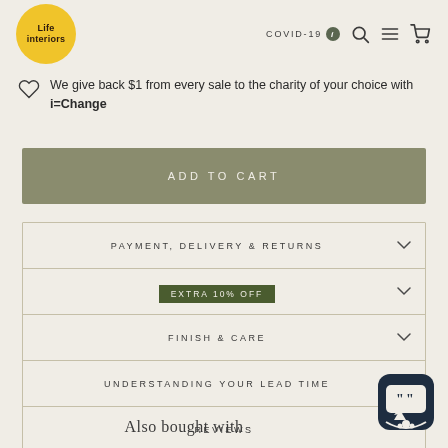Life interiors | COVID-19
We give back $1 from every sale to the charity of your choice with i=Change
ADD TO CART
PAYMENT, DELIVERY & RETURNS
EXTRA 10% OFF
FINISH & CARE
UNDERSTANDING YOUR LEAD TIME
REVIEWS
Also bought with